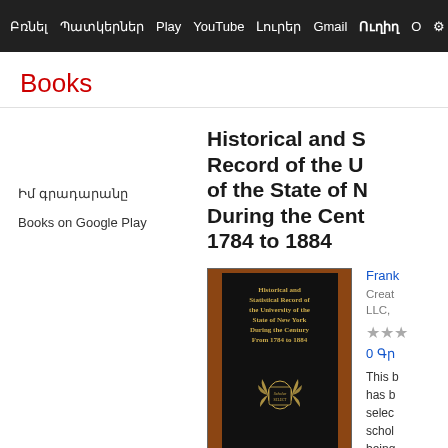Բռնել  Պատկերներ  Play  YouTube  Լուրեր  Gmail  Ուղիղ  Ο  ✦
Books
Historical and Statistical Record of the University of the State of New York During the Century From 1784 to 1884
Իմ գրադարանը
Books on Google Play
[Figure (photo): Book cover of 'Historical and Statistical Record of the University of the State of New York During the Century From 1784 to 1884' with Scholar Select emblem on dark background]
Frank
CreatSpace Independent Publishing, LLC,
★★★
0 Գր
This book has been selected scholars being